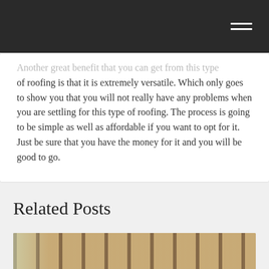[Navigation bar with hamburger menu]
Another great benefit that you can get from this type of roofing is that it is extremely versatile. Which only goes to show you that you will not really have any problems when you are settling for this type of roofing. The process is going to be simple as well as affordable if you want to opt for it. Just be sure that you have the money for it and you will be good to go.
Related Posts
[Figure (photo): Photo of a building interior showing wood framing/insulation on walls and radiant floor heating (red pipes in a grid pattern) on the floor, with light coming from the left.]